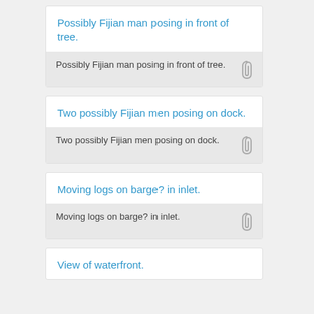Possibly Fijian man posing in front of tree.
Possibly Fijian man posing in front of tree.
Two possibly Fijian men posing on dock.
Two possibly Fijian men posing on dock.
Moving logs on barge? in inlet.
Moving logs on barge? in inlet.
View of waterfront.